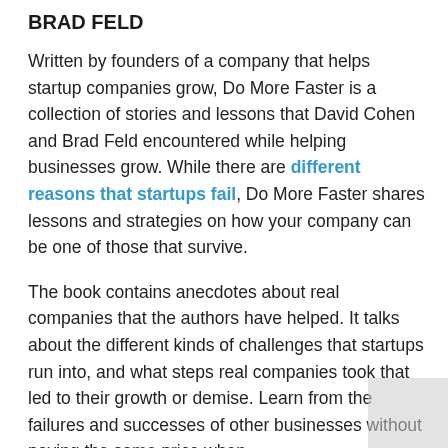BRAD FELD
Written by founders of a company that helps startup companies grow, Do More Faster is a collection of stories and lessons that David Cohen and Brad Feld encountered while helping businesses grow. While there are different reasons that startups fail, Do More Faster shares lessons and strategies on how your company can be one of those that survive.
The book contains anecdotes about real companies that the authors have helped. It talks about the different kinds of challenges that startups run into, and what steps real companies took that led to their growth or demise. Learn from the failures and successes of other businesses without paying the same price when